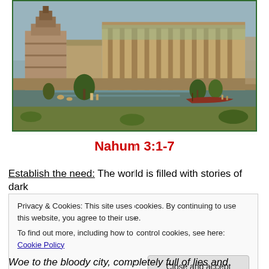[Figure (illustration): Historical illustration of an ancient Mesopotamian city (likely Nineveh or Babylon), showing large stone buildings, a ziggurat, a river with boats, and green landscape with figures in the foreground. Framed with a dark green border.]
Nahum 3:1-7
Establish the need: The world is filled with stories of dark
Privacy & Cookies: This site uses cookies. By continuing to use this website, you agree to their use.
To find out more, including how to control cookies, see here: Cookie Policy

Close and accept
Woe to the bloody city, completely full of lies and